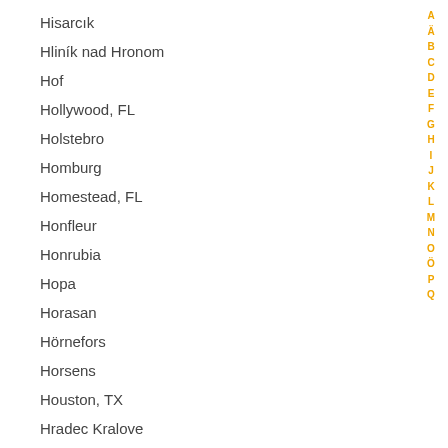Hisarcık
Hliník nad Hronom
Hof
Hollywood, FL
Holstebro
Homburg
Homestead, FL
Honfleur
Honrubia
Hopa
Horasan
Hörnefors
Horsens
Houston, TX
Hradec Kralove